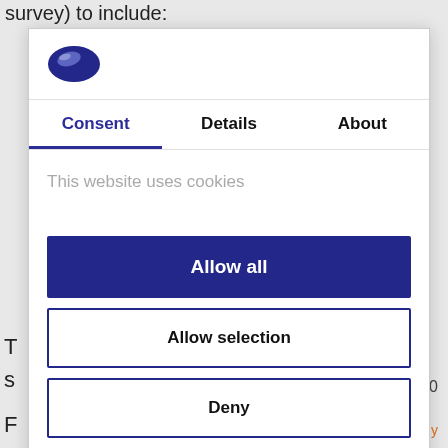survey) to include:
[Figure (logo): Cookiebot/Usercentrics logo - blue oval/bean shape]
Consent | Details | About
This website uses cookies
Allow all
Allow selection
Deny
Powered by Cookiebot by Usercentrics